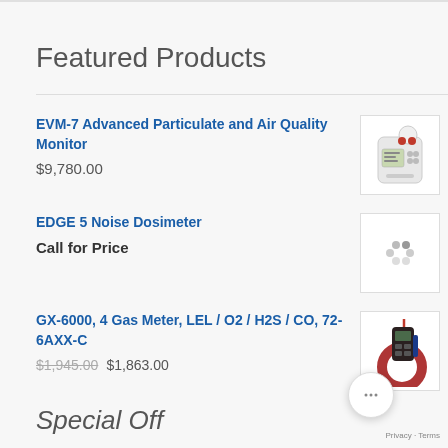Featured Products
EVM-7 Advanced Particulate and Air Quality Monitor
$9,780.00
[Figure (photo): EVM-7 Advanced Particulate and Air Quality Monitor product photo - white device with red and white sensors on top]
EDGE 5 Noise Dosimeter
Call for Price
[Figure (photo): EDGE 5 Noise Dosimeter product image - loading spinner placeholder]
GX-6000, 4 Gas Meter, LEL / O2 / H2S / CO, 72-6AXX-C
$1,945.00 $1,863.00
[Figure (photo): GX-6000 4 Gas Meter product photo - dark colored device with red strap]
Special Off